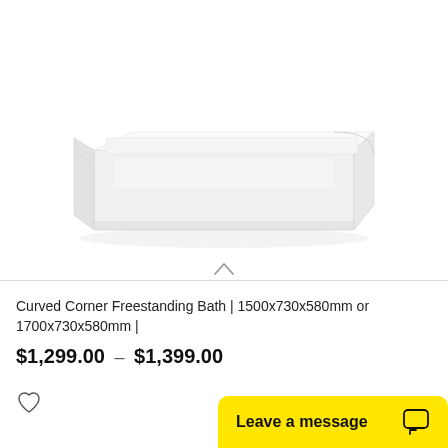[Figure (photo): White curved corner freestanding bathtub shown from a side-front angle on white background. The bathtub has a rectangular shape with rounded corners, modern design.]
Curved Corner Freestanding Bath | 1500x730x580mm or 1700x730x580mm |
$1,299.00 – $1,399.00
[Figure (illustration): Heart / wishlist icon (outline)]
Leave a message